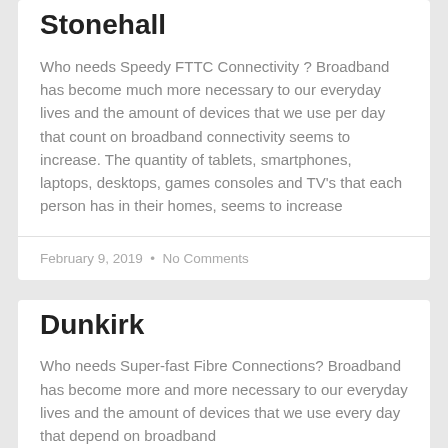Stonehall
Who needs Speedy FTTC Connectivity ? Broadband has become much more necessary to our everyday lives and the amount of devices that we use per day that count on broadband connectivity seems to increase. The quantity of tablets, smartphones, laptops, desktops, games consoles and TV’s that each person has in their homes, seems to increase
February 9, 2019  •  No Comments
Dunkirk
Who needs Super-fast Fibre Connections? Broadband has become more and more necessary to our everyday lives and the amount of devices that we use every day that depend on broadband